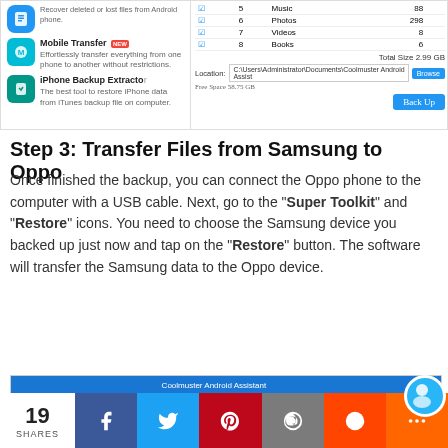[Figure (screenshot): Top portion of a software UI showing app sidebar with Mobile Transfer and iPhone Backup Extractor entries, and a backup dialog with file list (Music 88, Photos 298, Videos 8, Books 6) and location path with Browse and Back Up buttons.]
Step 3: Transfer Files from Samsung to Oppo
Once finished the backup, you can connect the Oppo phone to the computer with a USB cable. Next, go to the "Super Toolkit" and "Restore" icons. You need to choose the Samsung device you backed up just now and tap on the "Restore" button. The software will transfer the Samsung data to the Oppo device.
[Figure (screenshot): Coolmuster Android Assistant UI showing Super Toolkit panel with Backup and Restore cards highlighted, and right panel showing Annie's Galaxy S9 backup entries with Apps and Music checkboxes.]
19 SHARES